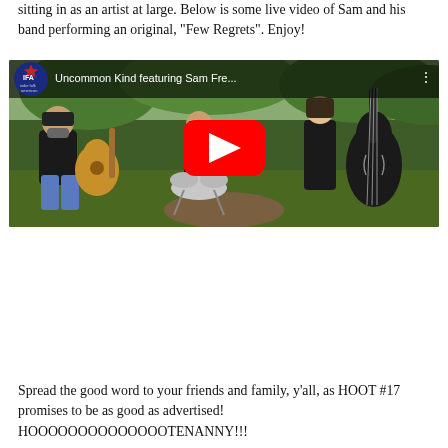sitting in as an artist at large. Below is some live video of Sam and his band performing an original, “Few Regrets”. Enjoy!
[Figure (screenshot): YouTube video embed showing 'Uncommon Kind featuring Sam Fre...' with IFA (Indie Folk American) logo. Three musicians performing outdoors: one playing acoustic guitar seated, one on drums, one playing upright bass. Red YouTube play button overlay in center.]
Spread the good word to your friends and family, y’all, as HOOT #17 promises to be as good as advertised! HOOOOOOOOOOOOOOTENANNY!!!